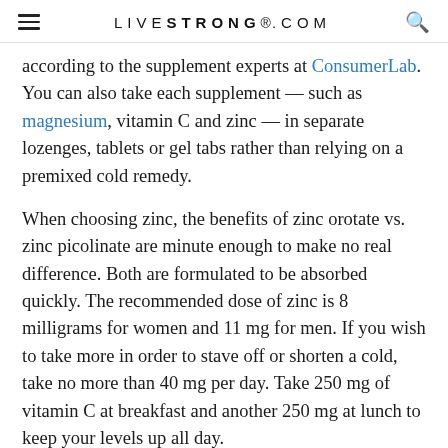LIVESTRONG.COM
according to the supplement experts at ConsumerLab. You can also take each supplement — such as magnesium, vitamin C and zinc — in separate lozenges, tablets or gel tabs rather than relying on a premixed cold remedy.
When choosing zinc, the benefits of zinc orotate vs. zinc picolinate are minute enough to make no real difference. Both are formulated to be absorbed quickly. The recommended dose of zinc is 8 milligrams for women and 11 mg for men. If you wish to take more in order to stave off or shorten a cold, take no more than 40 mg per day. Take 250 mg of vitamin C at breakfast and another 250 mg at lunch to keep your levels up all day.